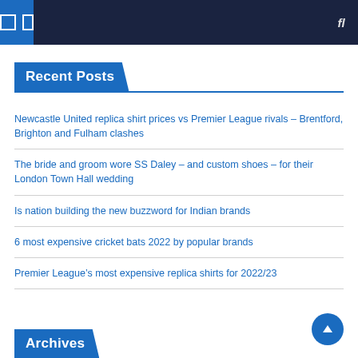Navigation bar with menu icons and search
Recent Posts
Newcastle United replica shirt prices vs Premier League rivals – Brentford, Brighton and Fulham clashes
The bride and groom wore SS Daley – and custom shoes – for their London Town Hall wedding
Is nation building the new buzzword for Indian brands
6 most expensive cricket bats 2022 by popular brands
Premier League's most expensive replica shirts for 2022/23
Archives